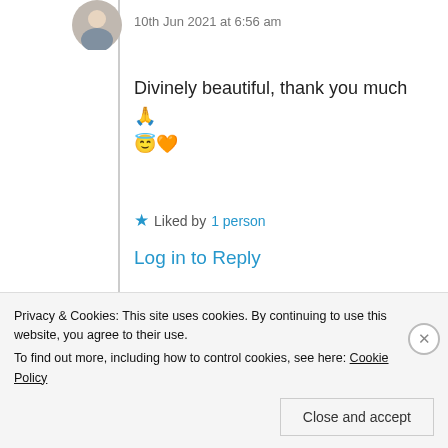10th Jun 2021 at 6:56 am
Divinely beautiful, thank you much 🙏 😇🧡
★ Liked by 1 person
Log in to Reply
Yernasia
Privacy & Cookies: This site uses cookies. By continuing to use this website, you agree to their use. To find out more, including how to control cookies, see here: Cookie Policy
Close and accept